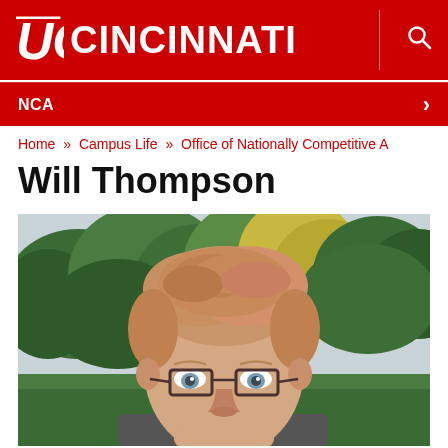[Figure (logo): University of Cincinnati logo with UC monogram and CINCINNATI text in white on red background]
NCA
Home » Campus Life » Office of Nationally Competitive A
Will Thompson
[Figure (photo): Portrait photo of Will Thompson, a young man with light reddish-blonde hair and rectangular glasses, photographed outdoors with trees in the background]